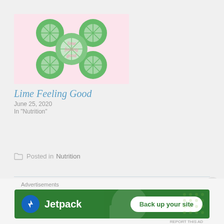[Figure (illustration): Blog post thumbnail: pink background with illustrated lime slices arranged in a flower/clover pattern, with pink handwritten text 'lime feeling good' in the center]
Lime Feeling Good
June 25, 2020
In "Nutrition"
Posted in Nutrition
← PREVIOUS
The Vegan Kind: November Lifestyle Box
[Figure (screenshot): Jetpack advertisement banner with green background showing Jetpack logo and 'Back up your site' button]